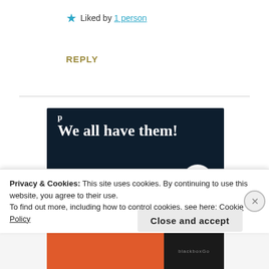★ Liked by 1 person
REPLY
[Figure (screenshot): Dark navy advertisement banner with white bold serif text reading 'We all have them!' and a partial line above it. A pink 'Start a survey' button is visible at the bottom left, and a circular logo labeled 'CROW' appears at bottom right.]
Privacy & Cookies: This site uses cookies. By continuing to use this website, you agree to their use.
To find out more, including how to control cookies, see here: Cookie Policy
Close and accept